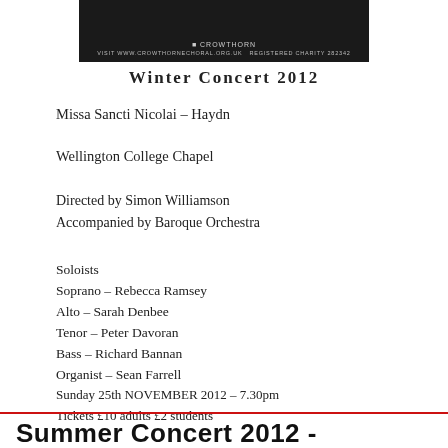[Figure (other): Dark banner with choir/organization logo and website text: Visit www.crowthornechoral.org.uk Registered Charity 282342]
Winter Concert 2012
Missa Sancti Nicolai – Haydn
Wellington College Chapel
Directed by Simon Williamson
Accompanied by Baroque Orchestra
Soloists
Soprano – Rebecca Ramsey
Alto – Sarah Denbee
Tenor – Peter Davoran
Bass – Richard Bannan
Organist – Sean Farrell
Sunday 25th NOVEMBER 2012 – 7.30pm
Tickets £10 adults £2 students
Summer Concert 2012 -